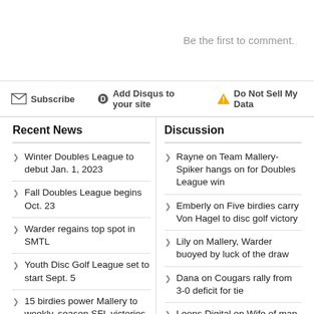Be the first to comment.
Subscribe   Add Disqus to your site   Do Not Sell My Data
Recent News
Discussion
Winter Doubles League to debut Jan. 1, 2023
Rayne on Team Mallery-Spiker hangs on for Doubles League win
Fall Doubles League begins Oct. 23
Emberly on Five birdies carry Von Hagel to disc golf victory
Warder regains top spot in SMTL
Lily on Mallery, Warder buoyed by luck of the draw
Youth Disc Golf League set to start Sept. 5
Dana on Cougars rally from 3-0 deficit for tie
15 birdies power Mallery to weekly, season SFL victories
Leons Digital on Wife of man who pointed gun at deputy